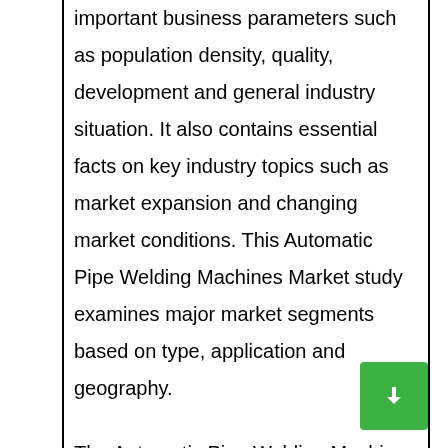important business parameters such as population density, quality, development and general industry situation. It also contains essential facts on key industry topics such as market expansion and changing market conditions. This Automatic Pipe Welding Machines Market study examines major market segments based on type, application and geography.
The Automatic Pipe Welding Machines Market research report tracks the potential growth of the organization for the coming years by providing insightful data. It covers a few important factors such as demographics, promotional activities, and how consumers inform their individual...